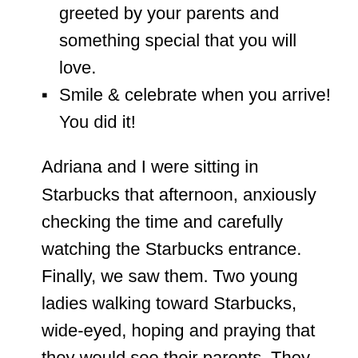greeted by your parents and something special that you will love.
Smile & celebrate when you arrive! You did it!
Adriana and I were sitting in Starbucks that afternoon, anxiously checking the time and carefully watching the Starbucks entrance. Finally, we saw them. Two young ladies walking toward Starbucks, wide-eyed, hoping and praying that they would see their parents. They had done it. After the old Why did you do that? We can't believe you left without us! rant they smiled, realizing they had done it; that it wasn't as insane or as dangerous as they had imagined it would be,